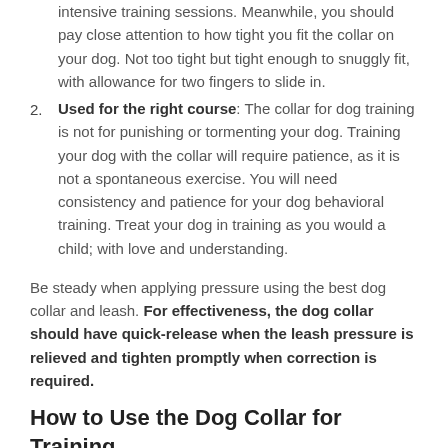intensive training sessions. Meanwhile, you should pay close attention to how tight you fit the collar on your dog. Not too tight but tight enough to snuggly fit, with allowance for two fingers to slide in.
Used for the right course: The collar for dog training is not for punishing or tormenting your dog. Training your dog with the collar will require patience, as it is not a spontaneous exercise. You will need consistency and patience for your dog behavioral training. Treat your dog in training as you would a child; with love and understanding.
Be steady when applying pressure using the best dog collar and leash. For effectiveness, the dog collar should have quick-release when the leash pressure is relieved and tighten promptly when correction is required.
How to Use the Dog Collar for Training